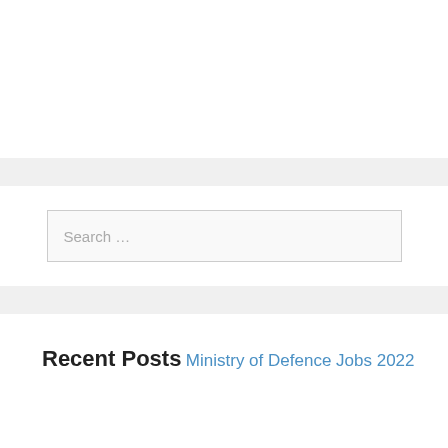Search ...
Recent Posts
Ministry of Defence Jobs 2022